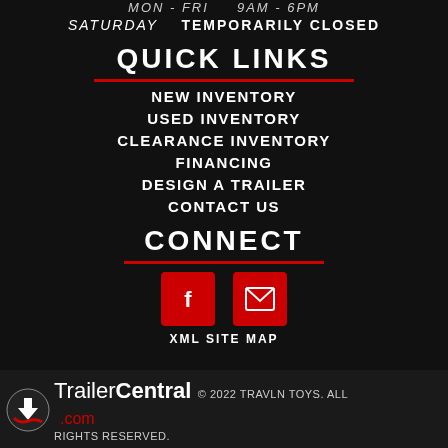MON - FRI   9AM - 6PM
SATURDAY   TEMPORARILY CLOSED
QUICK LINKS
NEW INVENTORY
USED INVENTORY
CLEARANCE INVENTORY
FINANCING
DESIGN A TRAILER
CONTACT US
CONNECT
[Figure (illustration): Social media icons: Facebook and Email (envelope) in red square buttons]
XML SITE MAP
TrailerCentral.com © 2022 TRAVLN TOYS. ALL RIGHTS RESERVED.